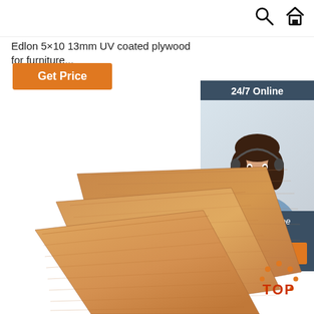[Figure (other): Search icon and home icon in top navigation bar]
Edlon 5×10 13mm UV coated plywood for furniture...
Get Price
[Figure (photo): Customer service agent photo with headset, 24/7 Online label, Click here for free chat!, and QUOTATION button on dark blue background panel]
[Figure (photo): Stack of UV coated plywood sheets showing wood grain texture, brown/tan color]
[Figure (logo): TOP badge with red text and dotted crown graphic]